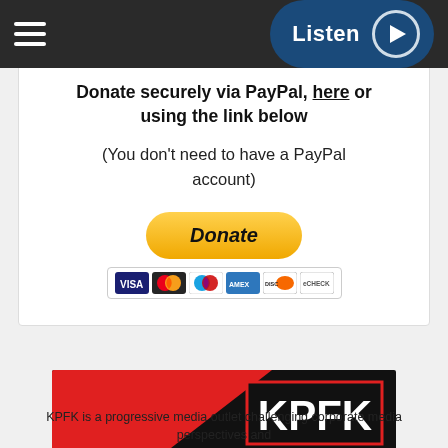☰   Listen ▶
Donate securely via PayPal, here or using the link below
(You don't need to have a PayPal account)
[Figure (other): PayPal Donate button with credit card icons (Visa, Mastercard, Maestro, AmEx, Discover, eCheck)]
[Figure (other): KPFK banner advertisement: red and black diagonal design with KPFK logo and text MAKE A PLEDGE ONLINE NOW!]
KPFK is a progressive media outlet challenging corporate media perspectives and